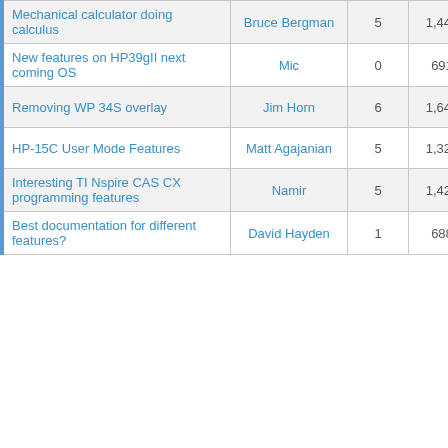| Topic | Author | Replies | Views | Last Post |
| --- | --- | --- | --- | --- |
| Mechanical calculator doing calculus | Bruce Bergman | 5 | 1,448 | 03-10-2013, 11:04 AM
Last Post: Thomas Chr... |
| New features on HP39gII next coming OS | Mic | 0 | 691 | 10-29-2012, 02:10 AM
Last Post: Mic |
| Removing WP 34S overlay | Jim Horn | 6 | 1,647 | 06-29-2012, 07:26 PM
Last Post: JimHorn |
| HP-15C User Mode Features | Matt Agajanian | 5 | 1,320 | 04-30-2012, 11:29 AM
Last Post: Matt Agajanian |
| Interesting TI Nspire CAS CX programming features | Namir | 5 | 1,422 | 04-15-2012, 04:11 PM
Last Post: Namir |
| Best documentation for different features? | David Hayden | 1 | 688 | 11-12-2011, 07:55 PM
Last Post: Allen |